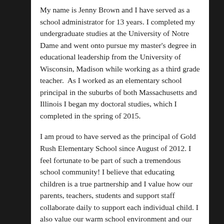My name is Jenny Brown and I have served as a school administrator for 13 years. I completed my undergraduate studies at the University of Notre Dame and went onto pursue my master's degree in educational leadership from the University of Wisconsin, Madison while working as a third grade teacher.  As I worked as an elementary school principal in the suburbs of both Massachusetts and Illinois I began my doctoral studies, which I completed in the spring of 2015.
I am proud to have served as the principal of Gold Rush Elementary School since August of 2012. I feel fortunate to be part of such a tremendous school community! I believe that educating children is a true partnership and I value how our parents, teachers, students and support staff collaborate daily to support each individual child. I also value our warm school environment and our collective commitment to foster critical thinking and civic